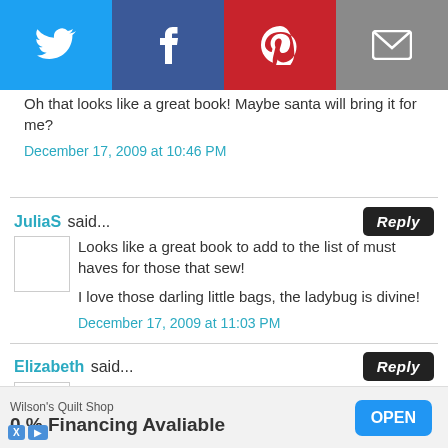[Figure (infographic): Social sharing bar with Twitter (blue), Facebook (dark blue), Pinterest (red), and Email (grey) icons]
Oh that looks like a great book! Maybe santa will bring it for me?
December 17, 2009 at 10:46 PM
JuliaS said...
Looks like a great book to add to the list of must haves for those that sew!

I love those darling little bags, the ladybug is divine!
December 17, 2009 at 11:03 PM
Elizabeth said...
I've been wanting this book since she announced she was writing one and I'd love to win this giveaway.
[Figure (infographic): Advertisement banner for Wilson's Quilt Shop: '0% Financing Avaliable' with OPEN button]